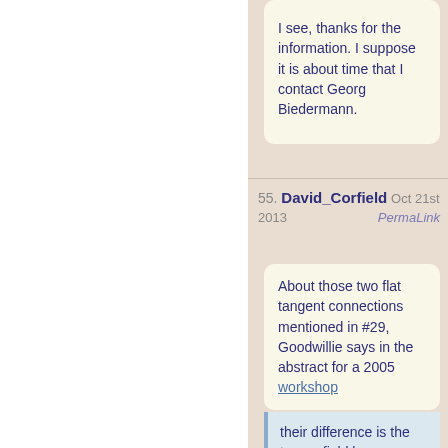PermaLink
I see, thanks for the information. I suppose it is about time that I contact Georg Biedermann.
55. David_Corfield  Oct 21st 2013  PermaLink
About those two flat tangent connections mentioned in #29, Goodwillie says in the abstract for a 2005 workshop
their difference is the tensor field known as smash